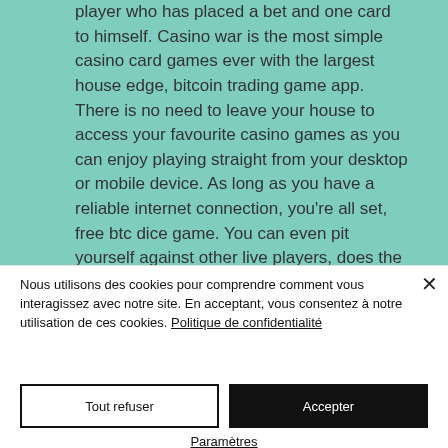player who has placed a bet and one card to himself. Casino war is the most simple casino card games ever with the largest house edge, bitcoin trading game app. There is no need to leave your house to access your favourite casino games as you can enjoy playing straight from your desktop or mobile device. As long as you have a reliable internet connection, you're all set, free btc dice game. You can even pit yourself against other live players, does the d casino have free parking. There are also dice games, just like in a real casino! Why are private tables
Nous utilisons des cookies pour comprendre comment vous interagissez avec notre site. En acceptant, vous consentez à notre utilisation de ces cookies. Politique de confidentialité
Tout refuser
Accepter
Paramètres